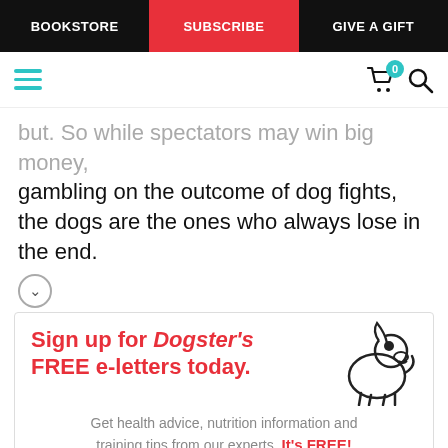BOOKSTORE | SUBSCRIBE | GIVE A GIFT
but. So while spectators may win big money, gambling on the outcome of dog fights, the dogs are the ones who always lose in the end.
[Figure (infographic): Sign up for Dogster's FREE e-letters today. Get health advice, nutrition information and training tips from our experts. It's FREE! Email input field and YES! SIGN ME UP button. Illustrated cartoon dog in the corner.]